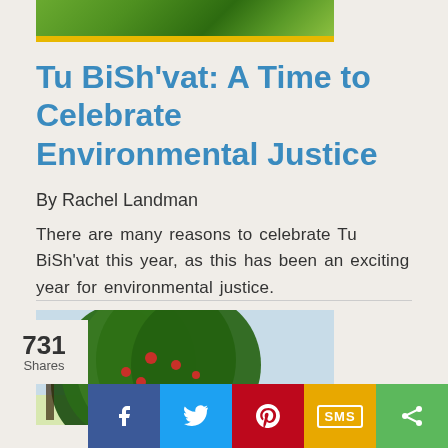[Figure (photo): Partial top photo of green trees/fruit with a gold bar below it]
Tu BiSh'vat: A Time to Celebrate Environmental Justice
By Rachel Landman
There are many reasons to celebrate Tu BiSh'vat this year, as this has been an exciting year for environmental justice.
[Figure (photo): Photo of a large green tree with red fruit (pomegranate or orange tree), partial view]
731 Shares